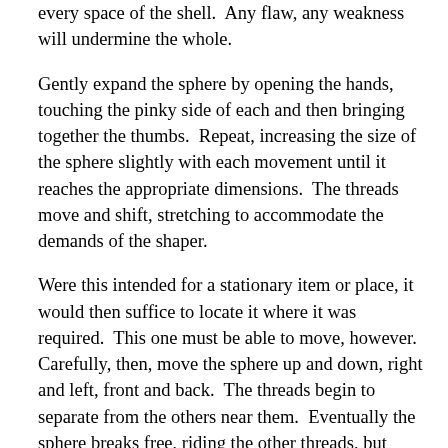every space of the shell.  Any flaw, any weakness will undermine the whole.
Gently expand the sphere by opening the hands, touching the pinky side of each and then bringing together the thumbs.  Repeat, increasing the size of the sphere slightly with each movement until it reaches the appropriate dimensions.  The threads move and shift, stretching to accommodate the demands of the shaper.
Were this intended for a stationary item or place, it would then suffice to locate it where it was required.  This one must be able to move, however.  Carefully, then, move the sphere up and down, right and left, front and back.  The threads begin to separate from the others near them.  Eventually the sphere breaks free, riding the other threads, but remaining apart.  The broken ends quickly